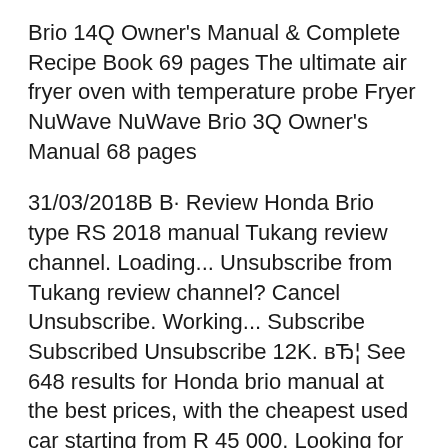Brio 14Q Owner's Manual & Complete Recipe Book 69 pages The ultimate air fryer oven with temperature probe Fryer NuWave NuWave Brio 3Q Owner's Manual 68 pages
31/03/2018В В· Review Honda Brio type RS 2018 manual Tukang review channel. Loading... Unsubscribe from Tukang review channel? Cancel Unsubscribe. Working... Subscribe Subscribed Unsubscribe 12K. вЂ¦ See 648 results for Honda brio manual at the best prices, with the cheapest used car starting from R 45 000. Looking for more second hand cars? Explore Honda cars for sale as well!
User Manual of Honda Brio S Mt, Owners Guide of Honda Brio S Mt, Technical guide of Honda